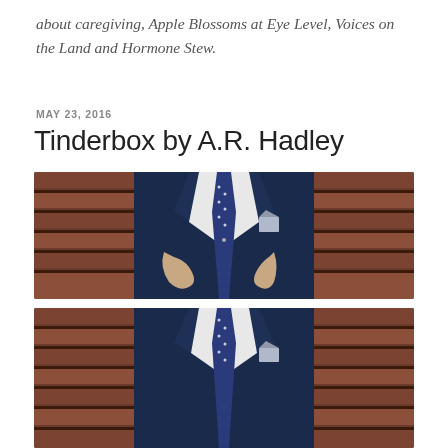about caregiving, Apple Blossoms at Eye Level, Voices on the Land and Hormone Stew.
MAY 23, 2016
Tinderbox by A.R. Hadley
[Figure (photo): Man in navy blue suit with white shirt and blue polka-dot tie, adjusting jacket lapels, standing in front of wooden plank background. Upper body/torso shot, head cropped out.]
[Figure (photo): Same man in navy blue suit with white shirt and blue polka-dot tie, partial view showing torso, same wooden plank background. Cropped at bottom.]